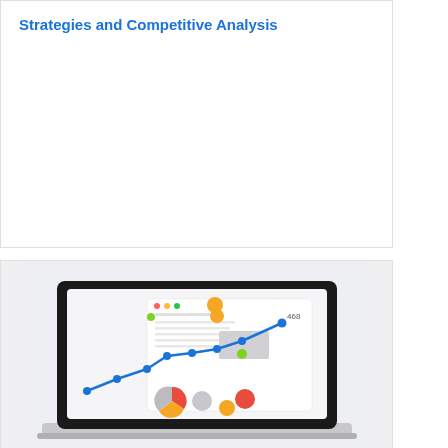Strategies and Competitive Analysis
[Figure (illustration): Laptop displaying a dashboard with a line chart showing upward trend, data panels, and colored pie/donut charts. The line chart shows a rising trend with value 468 annotated at the peak.]
Strong growth in the industrial PC market